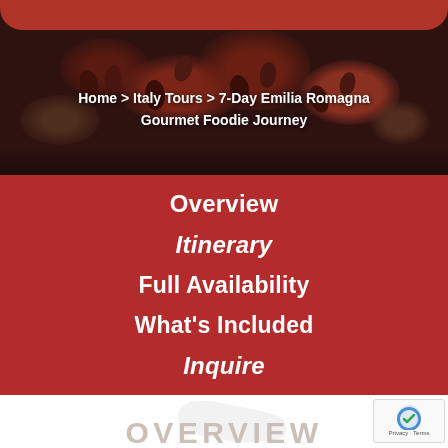[Figure (photo): Hero image of Italian food (olives, bread, charcuterie) with dark reddish-brown background and a red rounded navigation bar at top]
Home > Italy Tours > 7-Day Emilia Romagna Gourmet Foodie Journey
Overview
Itinerary
Full Availability
What's Included
Inquire
OVERVIEW